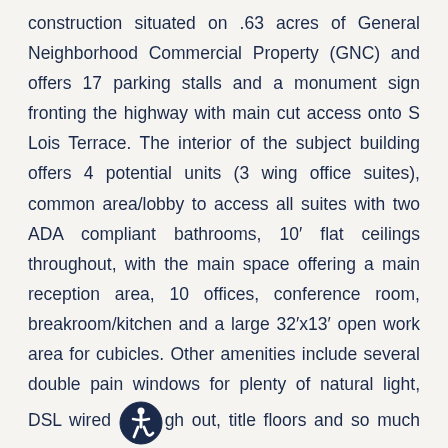construction situated on .63 acres of General Neighborhood Commercial Property (GNC) and offers 17 parking stalls and a monument sign fronting the highway with main cut access onto S Lois Terrace. The interior of the subject building offers 4 potential units (3 wing office suites), common area/lobby to access all suites with two ADA compliant bathrooms, 10’ flat ceilings throughout, with the main space offering a main reception area, 10 offices, conference room, breakroom/kitchen and a large 32’x13’ open work area for cubicles. Other amenities include several double pain windows for plenty of natural light, DSL wired through out, title floors and so much more. The subject property is zoned general commercial and